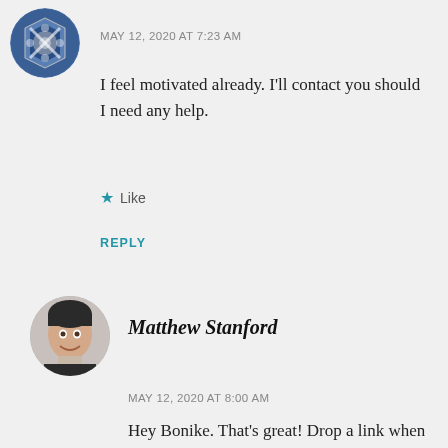[Figure (illustration): Avatar icon with blue/white geometric pattern design (circular)]
MAY 12, 2020 AT 7:23 AM
I feel motivated already. I'll contact you should I need any help.
★ Like
REPLY
[Figure (photo): Circular profile photo of Matthew Stanford, a man smiling]
Matthew Stanford
MAY 12, 2020 AT 8:00 AM
Hey Bonike. That's great! Drop a link when your blog is live